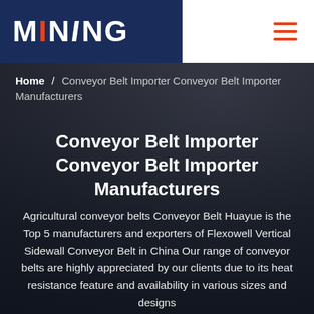[Figure (screenshot): Mining website page header with dark blue logo block on the left reading 'MINING' and a white block on the right with an orange hamburger menu icon]
Home / Conveyor Belt Importer Conveyor Belt Importer Manufacturers
Conveyor Belt Importer Conveyor Belt Importer Manufacturers
Agricultural conveyor belts Conveyor Belt Huayue is the Top 5 manufacturers and exporters of Flexowell Vertical Sidewall Conveyor Belt in China Our range of conveyor belts are highly appreciated by our clients due to its heat resistance feature and availability in various sizes and designs